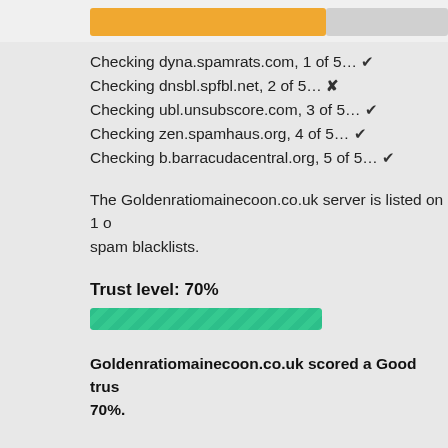[Figure (other): Orange progress bar at the top of the page, partially filled]
Checking dyna.spamrats.com, 1 of 5… ✔
Checking dnsbl.spfbl.net, 2 of 5… ✘
Checking ubl.unsubscore.com, 3 of 5… ✔
Checking zen.spamhaus.org, 4 of 5… ✔
Checking b.barracudacentral.org, 5 of 5… ✔
The Goldenratiomainecoon.co.uk server is listed on 1 of spam blacklists.
Trust level: 70%
[Figure (other): Green striped progress bar filled to approximately 70%]
Goldenratiomainecoon.co.uk scored a Good trust level of 70%.
Check owner and registration info for Goldenratiomainecoon.co.uk by clicking here